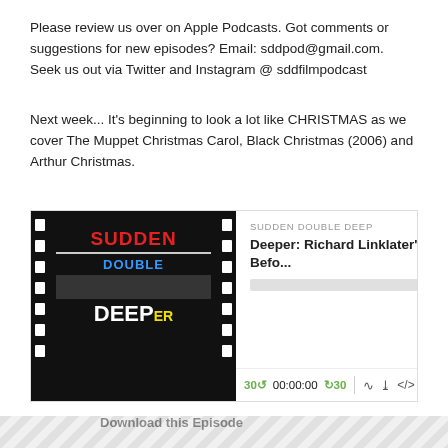Please review us over on Apple Podcasts. Got comments or suggestions for new episodes? Email: sddpod@gmail.com. Seek us out via Twitter and Instagram @ sddfilmpodcast
Next week... It's beginning to look a lot like CHRISTMAS as we cover The Muppet Christmas Carol, Black Christmas (2006) and Arthur Christmas.
[Figure (screenshot): Podcast player embed showing 'Sudden Double Deep' podcast episode 'Deeper: Richard Linklater's Befo...' with play button, progress bar, and transport controls (30s back, 00:00:00 timestamp, 30s forward, RSS, download, embed, and share icons). The player has a film strip thumbnail showing the podcast logo on the left.]
Download this Episode
1
©2019